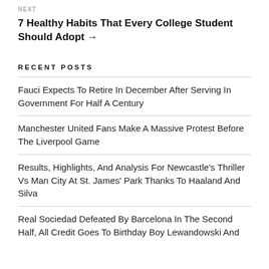NEXT
7 Healthy Habits That Every College Student Should Adopt →
RECENT POSTS
Fauci Expects To Retire In December After Serving In Government For Half A Century
Manchester United Fans Make A Massive Protest Before The Liverpool Game
Results, Highlights, And Analysis For Newcastle's Thriller Vs Man City At St. James' Park Thanks To Haaland And Silva
Real Sociedad Defeated By Barcelona In The Second Half, All Credit Goes To Birthday Boy Lewandowski And…